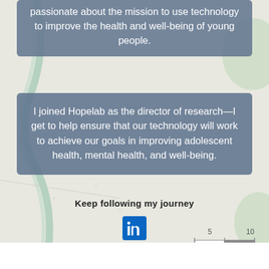passionate about the mission to use technology to improve the health and well-being of young people.
I joined Hopelab as the director of research—I get to help ensure that our technology will work to achieve our goals in improving adolescent health, mental health, and well-being.
Keep following my journey
[Figure (logo): LinkedIn logo icon, blue square with white 'in' text]
[Figure (map): Street map background with roads and terrain, scale bar showing 5 and 10 units in bottom right]